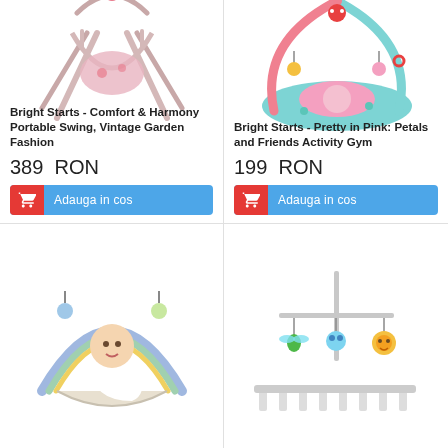[Figure (photo): Pink baby portable swing - Bright Starts Comfort & Harmony Vintage Garden Fashion]
Bright Starts - Comfort & Harmony Portable Swing, Vintage Garden Fashion
389  RON
Adauga in cos
[Figure (photo): Colorful baby activity gym mat with arch - Bright Starts Pretty in Pink: Petals and Friends Activity Gym]
Bright Starts - Pretty in Pink: Petals and Friends Activity Gym
199  RON
Adauga in cos
[Figure (photo): Baby sitting in a bouncer/swing with rainbow arch]
[Figure (photo): Musical crib mobile with colorful hanging animals]